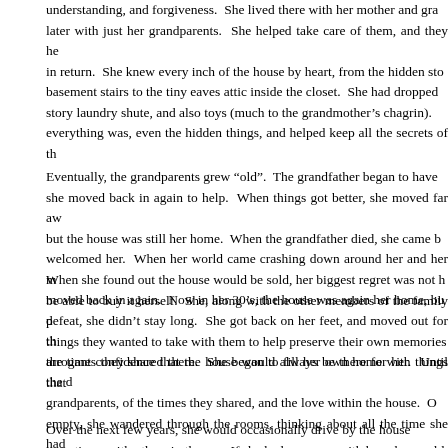understanding, and forgiveness.  She lived there with her mother and gra later with just her grandparents.  She helped take care of them, and they he in return.  She knew every inch of the house by heart, from the hidden sto basement stairs to the tiny eaves attic inside the closet.  She had dropped story laundry shute, and also toys (much to the grandmother's chagrin). everything was, even the hidden things, and helped keep all the secrets of th
Eventually, the grandparents grew “old”.  The grandfather began to have she moved back in again to help.  When things got better, she moved far aw but the house was still her home.  When the grandfather died, she came b welcomed her.  When her world came crashing down around her and her m moved back in again.  Now in her 30’s, the house was again her home, bu defeat, she didn’t stay long.  She got back on her feet, and moved out for th arrogant confidence that the house would always be there for her.  Until the d
When she found out the house would be sold, her biggest regret was not h be able to buy it herself.  She, along with the other members of the family p things they wanted to take with them to help preserve their own memories the times they shared there.  She began to fill her own home with things that grandparents, of the times they shared, and the love within the house.  O empty, she wandered through the rooms, thinking about all the time she had over the past 40 years.  She knew she would probably never be in the hous her time saying good-bye.
Over the next few years, she would occasionally drive by the house sometimes with others in the car.  If she had someone with her, she would